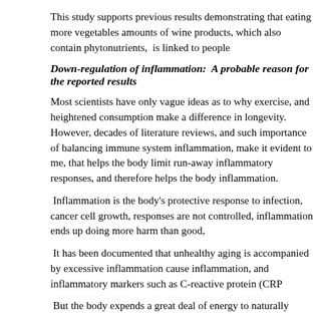This study supports previous results demonstrating that eating more vegetables and amounts of wine products, which also contain phytonutrients,  is linked to people
Down-regulation of inflammation:  A probable reason for the reported results
Most scientists have only vague ideas as to why exercise, and heightened consumption make a difference in longevity.  However, decades of literature reviews, and such importance of balancing immune system inflammation, make it evident to me, that helps the body limit run-away inflammatory responses, and therefore helps the body inflammation.
Inflammation is the body's protective response to infection, cancer cell growth, responses are not controlled, inflammation ends up doing more harm than good,
It has been documented that unhealthy aging is accompanied by excessive inflammation cause inflammation, and inflammatory markers such as C-reactive protein (CRP
But the body expends a great deal of energy to naturally control inflammatory responses homeostasis, immune balance.   So for example, moderate exercise lowers inflammation
Every time muscle contraction occurs, potent anti-inflammatory cytokines are released. study were physically active, their bodies were naturally reducing the amount of
As to the contribution of fruits and vegetables in lowering inflammation, hundreds carotenoids affect cytokines, the immune system messengers that modulate inflammation